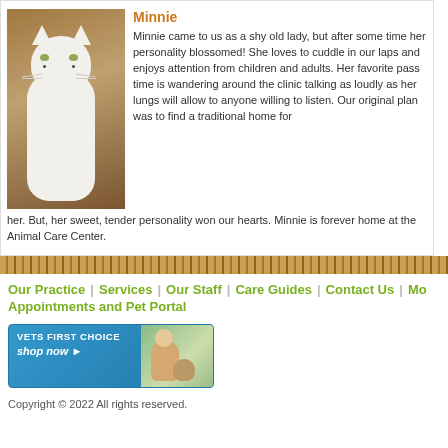Minnie
Minnie came to us as a shy old lady, but after some time her personality blossomed!  She loves to cuddle in our laps and enjoys attention from children and adults.  Her favorite pass time is wandering around the clinic talking as loudly as her lungs will allow to anyone willing to listen.  Our original plan was to find a traditional home for her.  But, her sweet, tender personality won our hearts.  Minnie is forever home at the Animal Care Center.
[Figure (photo): White cat sitting upright against a brown background]
Our Practice | Services | Our Staff | Care Guides | Contact Us | Mo... Appointments and Pet Portal
[Figure (screenshot): Vets First Choice shop now advertisement banner with person and dog]
Copyright © 2022 All rights reserved.